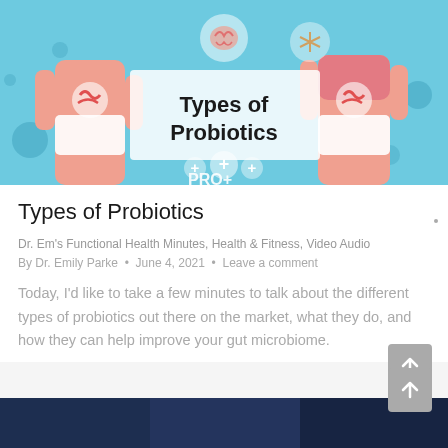[Figure (illustration): Hero infographic banner showing 'Types of Probiotics' with illustrated human figures showing digestive/gut anatomy on a light blue background with plus signs and PRO+ text]
Types of Probiotics
Dr. Em's Functional Health Minutes, Health & Fitness, Video Audio
By Dr. Emily Parke • June 4, 2021 • Leave a comment
Today, I'd like to take a few minutes to talk about the different types of probiotics out there on the market, what they do, and how they can help improve your gut microbiome.
[Figure (photo): Dark blue/navy partial image at bottom of page]